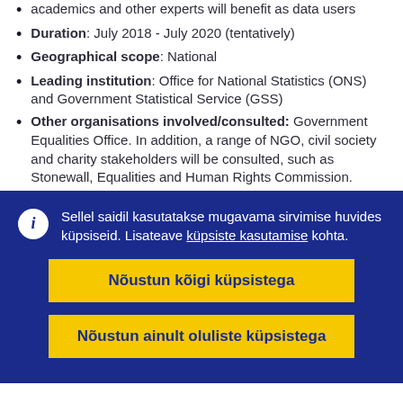academics and other experts will benefit as data users
Duration: July 2018 - July 2020 (tentatively)
Geographical scope: National
Leading institution: Office for National Statistics (ONS) and Government Statistical Service (GSS)
Other organisations involved/consulted: Government Equalities Office. In addition, a range of NGO, civil society and charity stakeholders will be consulted, such as Stonewall, Equalities and Human Rights Commission.
Sellel saidil kasutatakse mugavama sirvimise huvides küpsiseid. Lisateave küpsiste kasutamise kohta.
Nõustun kõigi küpsistega
Nõustun ainult oluliste küpsistega